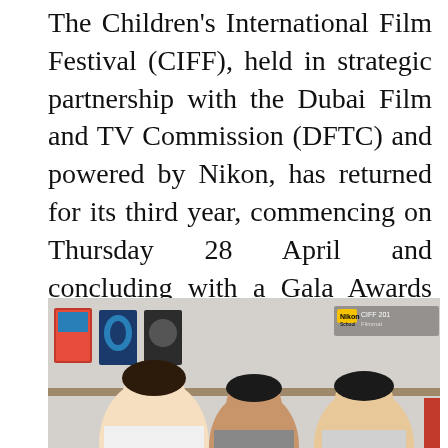The Children's International Film Festival (CIFF), held in strategic partnership with the Dubai Film and TV Commission (DFTC) and powered by Nikon, has returned for its third year, commencing on Thursday 28 April and concluding with a Gala Awards Ceremony on 7 May 2016. In association with VOX Cinemas, the 2016 edition of the Festival will showcase the talent [...]
[Figure (photo): Photo of young people (students/participants) in a room with posters on the wall in the background. A Nikon School CIFF 2016 Filmmaking badge/watermark is visible in the top right corner.]